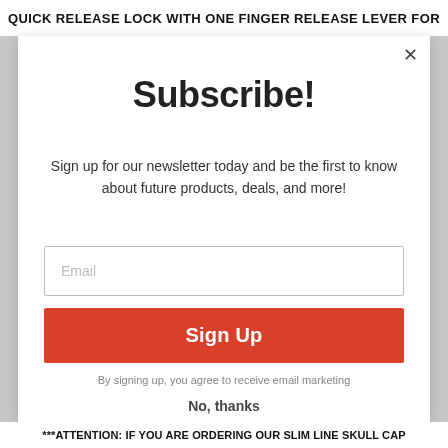QUICK RELEASE LOCK WITH ONE FINGER RELEASE LEVER FOR
Subscribe!
Sign up for our newsletter today and be the first to know about future products, deals, and more!
Email
Sign Up
By signing up, you agree to receive email marketing
No, thanks
***ATTENTION: IF YOU ARE ORDERING OUR SLIM LINE SKULL CAP